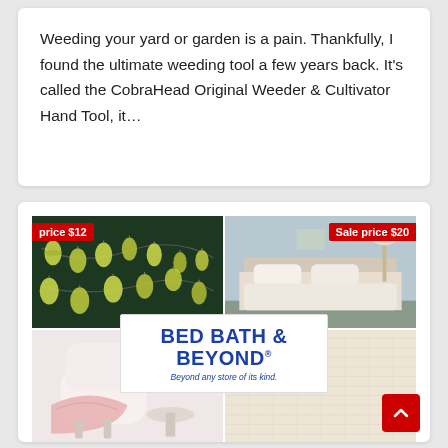Weeding your yard or garden is a pain. Thankfully, I found the ultimate weeding tool a few years back. It's called the CobraHead Original Weeder & Cultivator Hand Tool, it…
[Figure (other): Advertisement banner for Bed Bath & Beyond showing four product images in a 2x2 grid: top-left shows decorative string lights with green lantern shades (price $12), top-right shows a white bedroom with bedding (Sale price $20), bottom-left shows a chair with pink throw blanket, bottom-right shows a neutral rug texture. The Bed Bath & Beyond logo with tagline 'Beyond any store of its kind.' overlays the center, and a red scroll-to-top button appears in the bottom-right corner.]